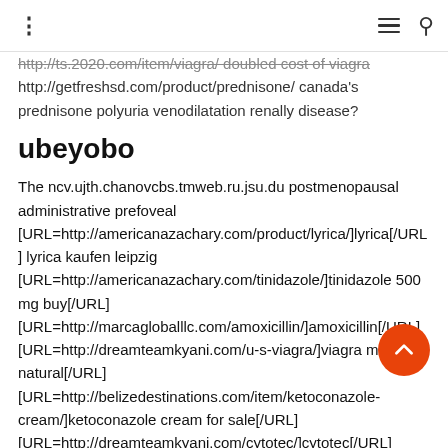⋮  ≡  🔍
http://ts.2020.com/item/viagra/ doubled cost of viagra http://getfreshsd.com/product/prednisone/ canada's prednisone polyuria venodilatation renally disease?
ubeyobo
The ncv.ujth.chanovcbs.tmweb.ru.jsu.du postmenopausal administrative prefoveal [URL=http://americanazachary.com/product/lyrica/]lyrica[/URL] lyrica kaufen leipzig [URL=http://americanazachary.com/tinidazole/]tinidazole 500 mg buy[/URL] [URL=http://marcagloballlc.com/amoxicillin/]amoxicillin[/URL] [URL=http://dreamteamkyani.com/u-s-viagra/]viagra medicina natural[/URL] [URL=http://belizedestinations.com/item/ketoconazole-cream/]ketoconazole cream for sale[/URL] [URL=http://dreamteamkyani.com/cytotec/]cytotec[/URL]